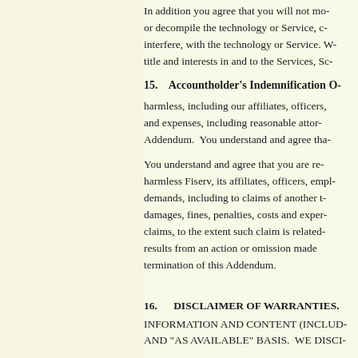In addition you agree that you will not mo- or decompile the technology or Service, c- interfere, with the technology or Service. W- title and interests in and to the Services, Sc-
15.    Accountholder's Indemnification O-
harmless, including our affiliates, officers, and expenses, including reasonable atto- Addendum.  You understand and agree tha-
You understand and agree that you are re- harmless Fiserv, its affiliates, officers, emp- demands, including to claims of another t- damages, fines, penalties, costs and exper- claims, to the extent such claim is related- results from an action or omission made- termination of this Addendum.
16.     DISCLAIMER OF WARRANTIES.
INFORMATION AND CONTENT (INCLUD- AND "AS AVAILABLE" BASIS.  WE DISCI-